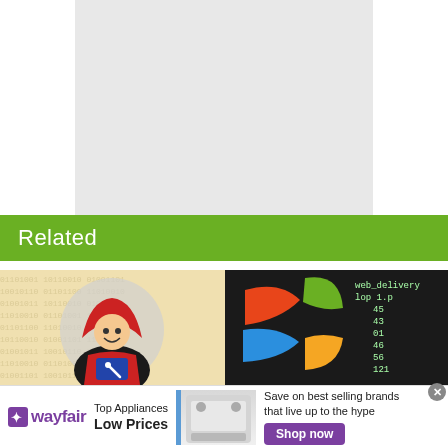[Figure (other): Large light gray placeholder/blank content area at top of page]
Related
[Figure (illustration): Thumbnail showing a cartoon hooded hacker figure in red hoodie holding a tablet, on a beige/tan background with subtle matrix-style code pattern]
[Figure (screenshot): Thumbnail showing Windows XP logo (colored flag icon) on dark background with terminal/code text overlay]
[Figure (infographic): Wayfair advertisement banner: Wayfair logo, 'Top Appliances Low Prices', image of kitchen range/stove, 'Save on best selling brands that live up to the hype', purple 'Shop now' button]